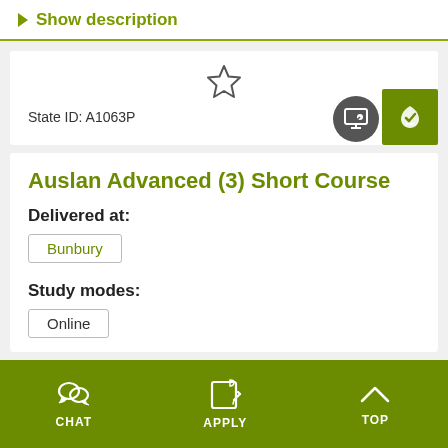Show description
State ID: A1063P
Auslan Advanced (3) Short Course
Delivered at:
Bunbury
Study modes:
Online
CHAT   APPLY   TOP